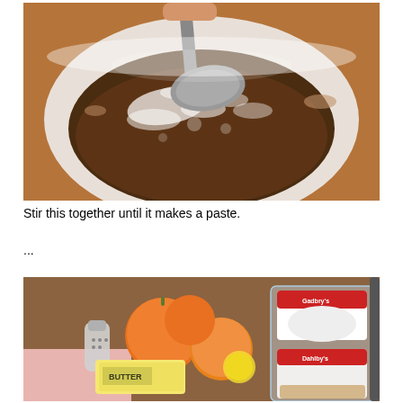[Figure (photo): A white ceramic bowl containing a dark brown paste/mixture being stirred with a large metal spoon. The mixture has some white foam/bubbles visible on top.]
Stir this together until it makes a paste.
...
[Figure (photo): A kitchen counter with various ingredients including oranges/peaches, a glass salt shaker, a stick of butter in its wrapper, containers of what appears to be Dahlby's or similar brand cream/dairy products in a clear plastic container.]